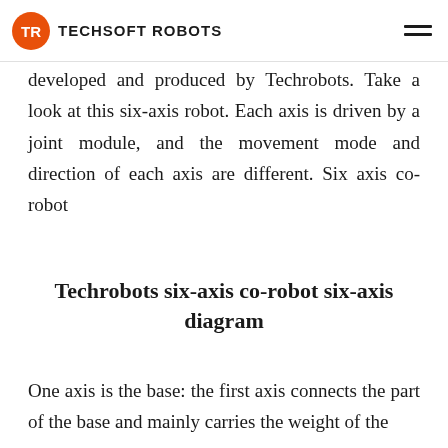TECHSOFT ROBOTS
developed and produced by Techrobots. Take a look at this six-axis robot. Each axis is driven by a joint module, and the movement mode and direction of each axis are different. Six axis co-robot
Techrobots six-axis co-robot six-axis diagram
One axis is the base: the first axis connects the part of the base and mainly carries the weight of the...